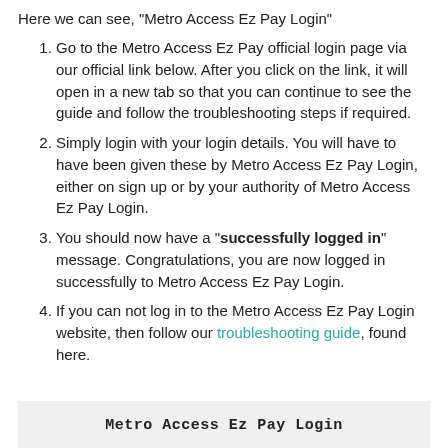Here we can see, “Metro Access Ez Pay Login”
Go to the Metro Access Ez Pay official login page via our official link below. After you click on the link, it will open in a new tab so that you can continue to see the guide and follow the troubleshooting steps if required.
Simply login with your login details. You will have to have been given these by Metro Access Ez Pay Login, either on sign up or by your authority of Metro Access Ez Pay Login.
You should now have a “successfully logged in” message. Congratulations, you are now logged in successfully to Metro Access Ez Pay Login.
If you can not log in to the Metro Access Ez Pay Login website, then follow our troubleshooting guide, found here.
Metro Access Ez Pay Login